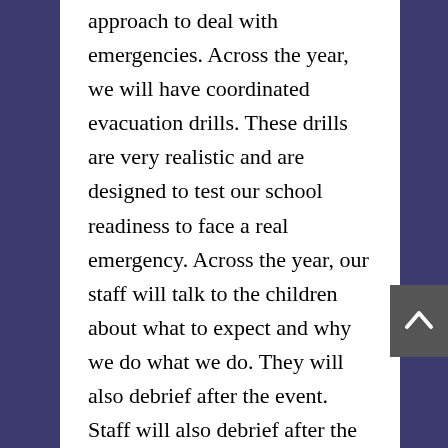approach to deal with emergencies. Across the year, we will have coordinated evacuation drills. These drills are very realistic and are designed to test our school readiness to face a real emergency. Across the year, our staff will talk to the children about what to expect and why we do what we do. They will also debrief after the event. Staff will also debrief after the event and reflect on what went well and what could be improved. The school will send an SMS to all families on the day the evacuation drill occurs.

We started our year with an audit of what